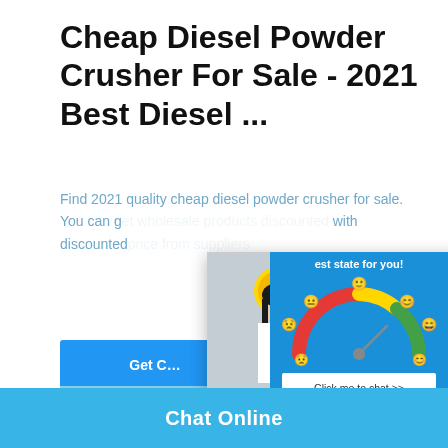Cheap Diesel Powder Crusher For Sale - 2021 Best Diesel ...
Find 2021 quality cheap diesel powder crusher for sale. You can get the wholesale products with discounted price from the most reputable suppliers.
[Figure (screenshot): Live chat popup with workers in yellow hard hats. Text reads LIVE CHAT in red and Click for a Free Consultation. Buttons: Chat now (red), Chat later (dark).]
[Figure (screenshot): Right sidebar with blue background, gauge/mood meter widget, best state for you label, Click me to chat >> button, Enquiry heading, cywaitml@gmail.com contact text.]
[Figure (photo): Industrial building or factory with blue sky and white clouds in background.]
Chat Online
cywaitml@gmail.com